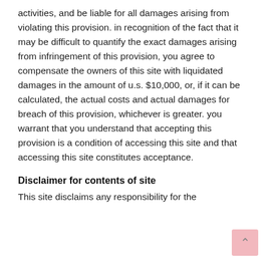activities, and be liable for all damages arising from violating this provision. in recognition of the fact that it may be difficult to quantify the exact damages arising from infringement of this provision, you agree to compensate the owners of this site with liquidated damages in the amount of u.s. $10,000, or, if it can be calculated, the actual costs and actual damages for breach of this provision, whichever is greater. you warrant that you understand that accepting this provision is a condition of accessing this site and that accessing this site constitutes acceptance.
Disclaimer for contents of site
This site disclaims any responsibility for the